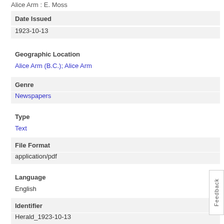Alice Arm : E. Moss
Date Issued
1923-10-13
Geographic Location
Alice Arm (B.C.); Alice Arm
Genre
Newspapers
Type
Text
File Format
application/pdf
Language
English
Identifier
Herald_1923-10-13